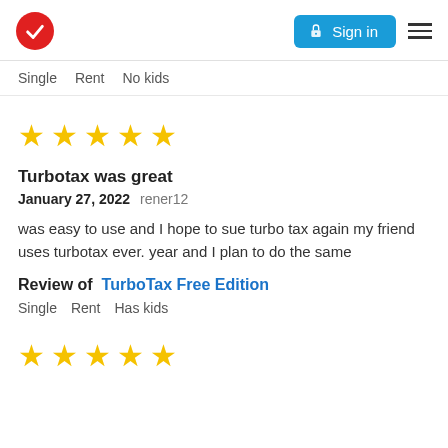TurboTax logo | Sign in | Menu
Single   Rent   No kids
[Figure (other): Five gold star rating icons]
Turbotax was great
January 27, 2022 rener12
was easy to use and I hope to sue turbo tax again my friend uses turbotax ever. year and I plan to do the same
Review of TurboTax Free Edition
Single   Rent   Has kids
[Figure (other): Five gold star rating icons (second review)]